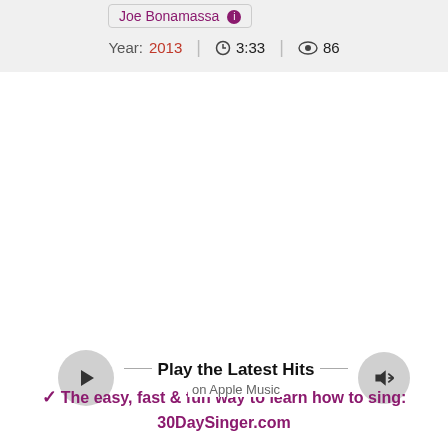Joe Bonamassa
Year: 2013 | 3:33 | 86
[Figure (screenshot): Music player widget with play button, Play the Latest Hits on Apple Music text, and volume button]
The easy, fast & fun way to learn how to sing: 30DaySinger.com